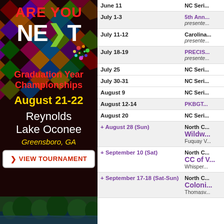[Figure (illustration): NEXT Graduation Year Championships advertisement banner. Dark background with colorful geometric pattern. Text: ARE YOU, NEXT (with green arrow), Graduation Year Championships, August 21-22, Reynolds Lake Oconee, Greensboro GA. VIEW TOURNAMENT button. Lake landscape at bottom.]
| Date | Event |
| --- | --- |
| June 11 | NC Seri... |
| July 1-3 | 5th Ann...
presente... |
| July 11-12 | Carolina...
presente... |
| July 18-19 | PRECIS...
presente... |
| July 25 | NC Seri... |
| July 30-31 | NC Seri... |
| August 9 | NC Seri... |
| August 12-14 | PKBGT... |
| August 20 | NC Seri... |
| + August 28  (Sun) | North C...
Wildw...
Fuquay V... |
| + September 10  (Sat) | North C...
CC of V...
Whisper... |
| + September 17-18  (Sat-Sun) | North C...
Coloni...
Thomasv... |